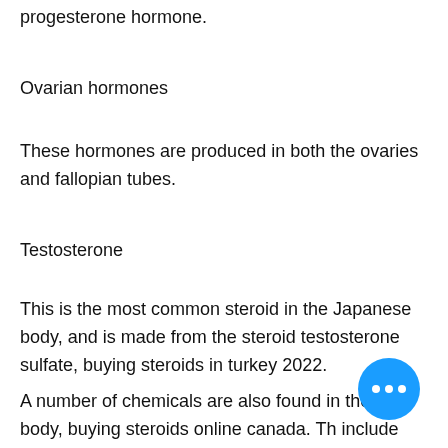progesterone hormone.
Ovarian hormones
These hormones are produced in both the ovaries and fallopian tubes.
Testosterone
This is the most common steroid in the Japanese body, and is made from the steroid testosterone sulfate, buying steroids in turkey 2022.
A number of chemicals are also found in the body, buying steroids online canada. They include amino acids, vitamins, minerals, amino acids compounds. The composition of the product on the surface reflects the body...